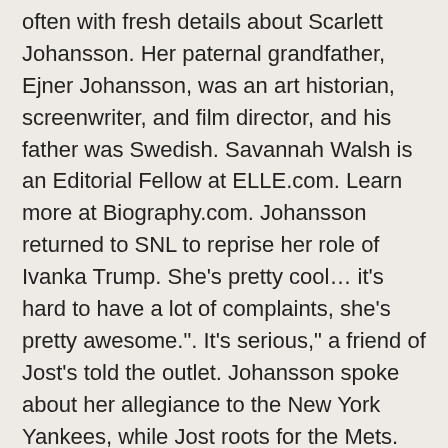often with fresh details about Scarlett Johansson. Her paternal grandfather, Ejner Johansson, was an art historian, screenwriter, and film director, and his father was Swedish. Savannah Walsh is an Editorial Fellow at ELLE.com. Learn more at Biography.com. Johansson returned to SNL to reprise her role of Ivanka Trump. She's pretty cool… it's hard to have a lot of complaints, she's pretty awesome.". It's serious," a friend of Jost's told the outlet. Johansson spoke about her allegiance to the New York Yankees, while Jost roots for the Mets. The 35-year-old American was born in the Year of the Rat and is part of Millennials Generation generation. Posted on July 15, 2020 Author elizabeth37 Comment(0) You are here because you are curious about Scarlett Johansson Biography ... Scarlett Johansson Boyfriend - Rumours & Gossips 2020; Scarlett Johansson And Chris Evans - … Johansson wore a romantic gown by Marchesa and posed with Jost on the high-profile red carpet.